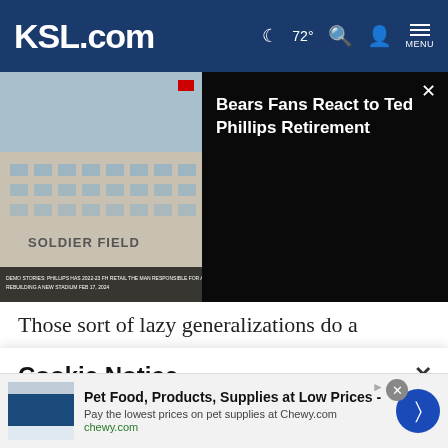KSL.com | 72° | Search | Account | Menu
[Figure (screenshot): Video thumbnail showing Soldier Field exterior building with text overlay, next to dark video info panel showing title 'Bears Fans React to Ted Phillips Retirement' with close button]
Those sort of lazy generalizations do a disservice to both players.
"Athletes know athletes, regardless of what your color is or
Cookie Notice
We use cookies to improve your experience, analyze site traffic, and to personalize content and ads. By continuing to use our site, you consent to our use of cookies. Please visit our Terms of Use and Privacy Policy for more information.
[Figure (infographic): Advertisement banner for Chewy.com: Pet Food, Products, Supplies at Low Prices - Pay the lowest prices on pet supplies at Chewy.com. chewy.com]